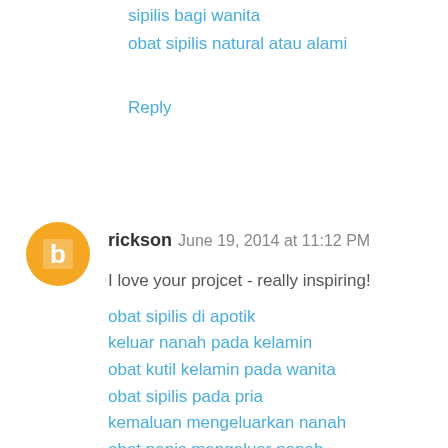sipilis bagi wanita
obat sipilis natural atau alami
Reply
rickson  June 19, 2014 at 11:12 PM
I love your projcet - really inspiring!
obat sipilis di apotik
keluar nanah pada kelamin
obat kutil kelamin pada wanita
obat sipilis pada pria
kemaluan mengeluarkan nanah
obat penis mengeluar nanah
obat kutil kelamin pada wanita
obat penis keluar nanah
kelamin keluar nanah
obat untuk penis mengeluar nanah
obat penis mengeluar nanah
harga obat kutil kelamin
obat sipilis resep dokter
obat ambeien tradisional